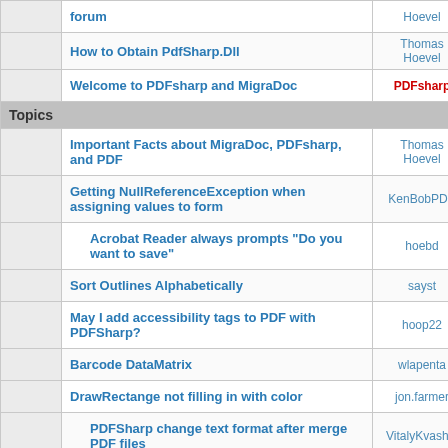|  | Topic | Author | Replies |
| --- | --- | --- | --- |
|  | forum | Hoevel |  |
|  | How to Obtain PdfSharp.Dll | Thomas Hoevel | 12 |
|  | Welcome to PDFsharp and MigraDoc | PDFsharp | 0 |
| Topics |  |  |  |
|  | Important Facts about MigraDoc, PDFsharp, and PDF | Thomas Hoevel | 4 |
|  | Getting NullReferenceException when assigning values to form | KenBobPDX | 1 |
|  | Acrobat Reader always prompts "Do you want to save" | hoebd | 13 |
|  | Sort Outlines Alphabetically | sayst | 0 |
|  | May I add accessibility tags to PDF with PDFSharp? | hoop22 | 6 |
|  | Barcode DataMatrix | wlapenta | 5 |
|  | DrawRectange not filling in with color | jon.farmer | 1 |
|  | PDFSharp change text format after merge PDF files | VitalyKvashin | 1 |
|  | Error: encryption not supported by PDFsharp | Jdevloper | 0 |